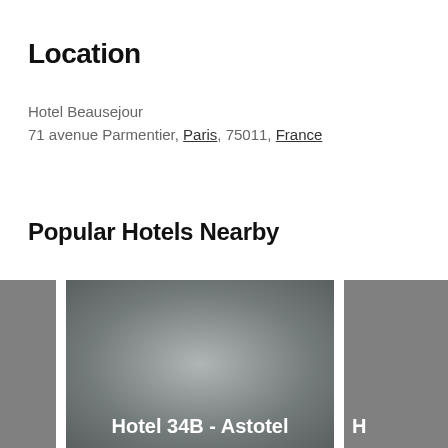Location
Hotel Beausejour
71 avenue Parmentier, Paris, 75011, France
Popular Hotels Nearby
[Figure (photo): Three partially visible hotel photo cards shown side by side. The center card shows a grey gradient image with the label 'Hotel 34B - Astotel' partially visible. Left and right cards are cropped grey images.]